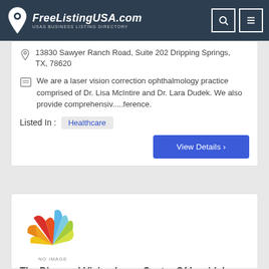FreeListingUSA.com — USAs BUSINESS LISTING DIRECTORY
13830 Sawyer Ranch Road, Suite 202 Dripping Springs, TX, 78620
We are a laser vision correction ophthalmology practice comprised of Dr. Lisa McIntire and Dr. Lara Dudek. We also provide comprehensiv.....ference.
Listed In : Healthcare
View Details >
[Figure (logo): Colorful fan-shaped logo with red, orange, yellow, green, and blue triangular petals. Text below reads NO IMAGE.]
The Diamond Vision Laser Center Of Lewidale...